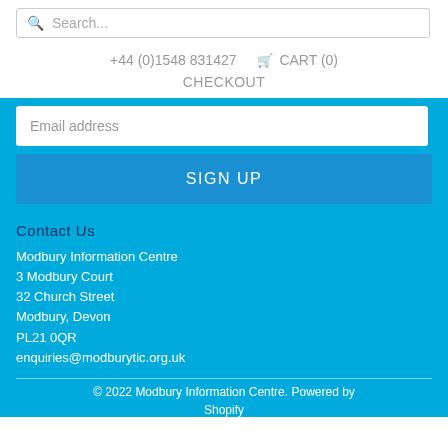Search...
+44 (0)1548 831427  🛒 CART (0)
CHECKOUT
Email address
SIGN UP
Contact Us
Modbury Information Centre
3 Modbury Court
32 Church Street
Modbury, Devon
PL21 0QR
enquiries@modburytic.org.uk
© 2022 Modbury Information Centre. Powered by Shopify